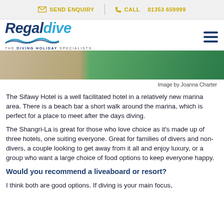SEND ENQUIRY | CALL 01353 659999
[Figure (logo): Regaldive logo with wave graphic and tagline 'THE DIVING HOLIDAY SPECIALISTS']
[Figure (photo): Partial image showing sandy ground and green surface, likely a poolside or marina area.]
Image by Joanna Charter
The Sifawy Hotel is a well facilitated hotel in a relatively new marina area. There is a beach bar a short walk around the marina, which is perfect for a place to meet after the days diving.
The Shangri-La is great for those who love choice as it's made up of three hotels, one suiting everyone. Great for families of divers and non-divers, a couple looking to get away from it all and enjoy luxury, or a group who want a large choice of food options to keep everyone happy.
Would you recommend a liveaboard or resort?
I think both are good options. If diving is your main focus,